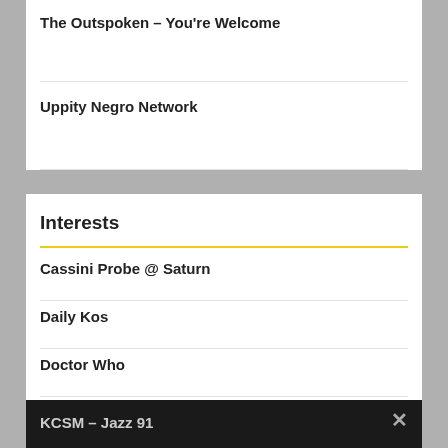The Outspoken – You're Welcome
Uppity Negro Network
Interests
Cassini Probe @ Saturn
Daily Kos
Doctor Who
KCSM – Jazz 91
Makeup to Go
The Root
Privacy Preferences
I Agree